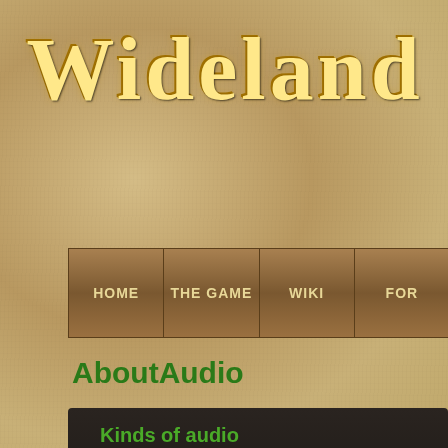Widelands
HOME | THE GAME | WIKI | FOR...
AboutAudio
Kinds of audio
There are two basic kinds auf audio in Widelands: music and effects. Music is split in three areas: the intro, which is played during the initial splash screen, music to be played in the full screen menus outside of a game and ingame music.
Sound effects are more varied: basically anything that is visible can produce an fx at any time: